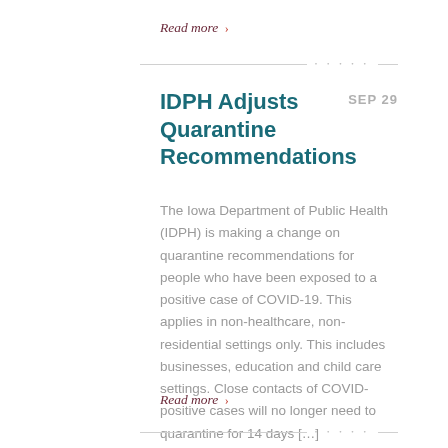Read more ›
IDPH Adjusts Quarantine Recommendations  SEP 29
The Iowa Department of Public Health (IDPH) is making a change on quarantine recommendations for people who have been exposed to a positive case of COVID-19. This applies in non-healthcare, non-residential settings only. This includes businesses, education and child care settings. Close contacts of COVID-positive cases will no longer need to quarantine for 14 days […]
Read more ›